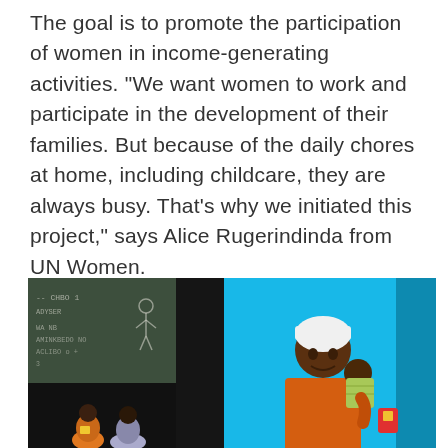The goal is to promote the participation of women in income-generating activities. “We want women to work and participate in the development of their families. But because of the daily chores at home, including childcare, they are always busy. That’s why we initiated this project,” says Alice Rugerindinda from UN Women.
[Figure (photo): Two-panel photograph. Left panel shows young children sitting in front of a chalkboard with chalk writing. Right panel shows a woman in orange top and white headwrap holding a baby/toddler against a bright blue wall.]